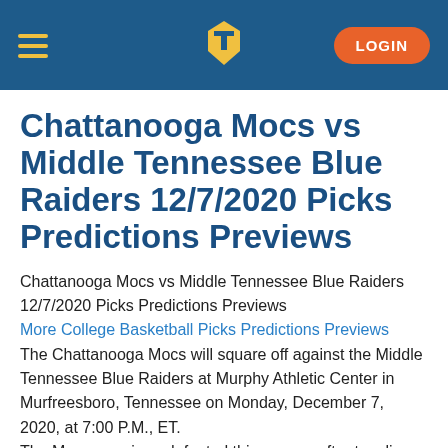TP LOGIN
Chattanooga Mocs vs Middle Tennessee Blue Raiders 12/7/2020 Picks Predictions Previews
Chattanooga Mocs vs Middle Tennessee Blue Raiders 12/7/2020 Picks Predictions Previews
More College Basketball Picks Predictions Previews
The Chattanooga Mocs will square off against the Middle Tennessee Blue Raiders at Murphy Athletic Center in Murfreesboro, Tennessee on Monday, December 7, 2020, at 7:00 P.M., ET.
The Mocs remain undefeated this season after toppling the